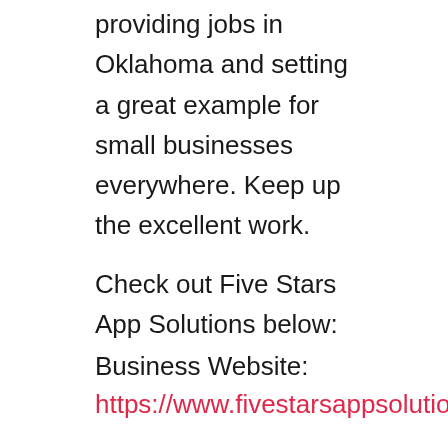providing jobs in Oklahoma and setting a great example for small businesses everywhere. Keep up the excellent work.
Check out Five Stars App Solutions below:
Business Website:
https://www.fivestarsappsolutions.com
When was this company founded?
Less than 1 year
Information provided by Josette Cole-Biggin, CEO / Founder